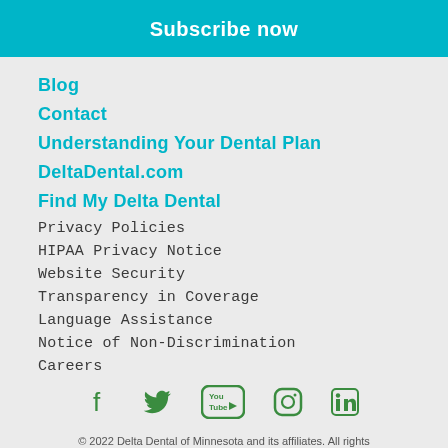Subscribe now
Blog
Contact
Understanding Your Dental Plan
DeltaDental.com
Find My Delta Dental
Privacy Policies
HIPAA Privacy Notice
Website Security
Transparency in Coverage
Language Assistance
Notice of Non-Discrimination
Careers
[Figure (infographic): Social media icons: Facebook, Twitter, YouTube, Instagram, LinkedIn in green]
© 2022 Delta Dental of Minnesota and its affiliates. All rights